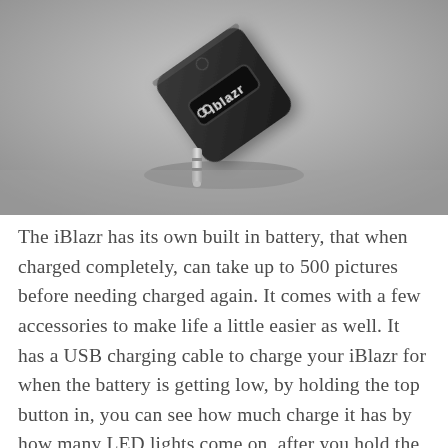[Figure (photo): A black square iBlazr device with a 3.5mm audio jack connector, tilted at an angle balanced on its plug tip on a gray surface. The device has 'iBlazr' branding visible on its face.]
The iBlazr has its own built in battery, that when charged completely, can take up to 500 pictures before needing charged again. It comes with a few accessories to make life a little easier as well. It has a USB charging cable to charge your iBlazr for when the battery is getting low, by holding the top button in, you can see how much charge it has by how many LED lights come on, after you hold the button.